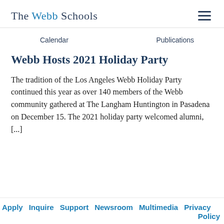The Webb Schools
Calendar    Publications
Webb Hosts 2021 Holiday Party
The tradition of the Los Angeles Webb Holiday Party continued this year as over 140 members of the Webb community gathered at The Langham Huntington in Pasadena on December 15. The 2021 holiday party welcomed alumni, [...]
Apply  Inquire  Support  Newsroom  Multimedia  Privacy Policy